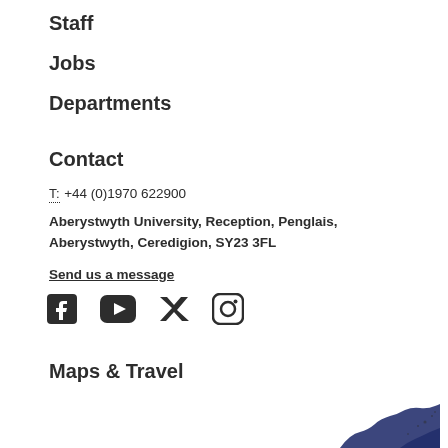Staff
Jobs
Departments
Contact
T: +44 (0)1970 622900
Aberystwyth University, Reception, Penglais, Aberystwyth, Ceredigion, SY23 3FL
Send us a message
[Figure (other): Social media icons: Facebook, YouTube, Twitter, Instagram]
Maps & Travel
[Figure (map): Partial map image showing coastline, partially visible at bottom of page]